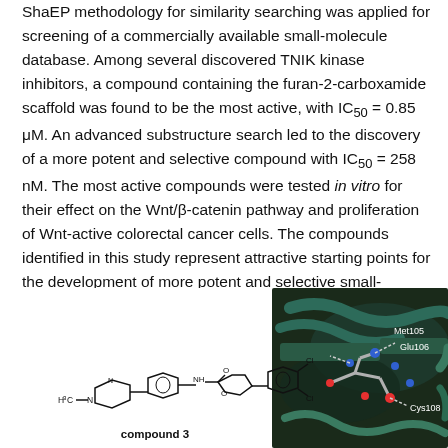ShaEP methodology for similarity searching was applied for screening of a commercially available small-molecule database. Among several discovered TNIK kinase inhibitors, a compound containing the furan-2-carboxamide scaffold was found to be the most active, with IC50 = 0.85 μM. An advanced substructure search led to the discovery of a more potent and selective compound with IC50 = 258 nM. The most active compounds were tested in vitro for their effect on the Wnt/β-catenin pathway and proliferation of Wnt-active colorectal cancer cells. The compounds identified in this study represent attractive starting points for the development of more potent and selective small-molecule TNIK inhibitors for both therapeutic application and research into TNIK's biological role.
[Figure (illustration): Left: chemical structure of compound 3 showing a piperazine ring with N-methyl group connected to a phenyl ring, then an NH linker to a furan-2-carboxamide core, with a dichlorophenyl substituent. Right: 3D protein-ligand binding mode visualization showing Met105, Glu106, and Cys108 residues with dashed lines indicating interactions.]